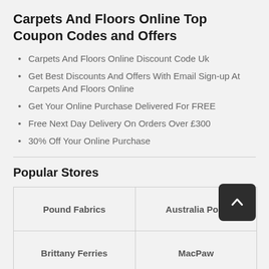Carpets And Floors Online Top Coupon Codes and Offers
Carpets And Floors Online Discount Code Uk
Get Best Discounts And Offers With Email Sign-up At Carpets And Floors Online
Get Your Online Purchase Delivered For FREE
Free Next Day Delivery On Orders Over £300
30% Off Your Online Purchase
Popular Stores
| Pound Fabrics | Australia Post |
| Brittany Ferries | MacPaw |